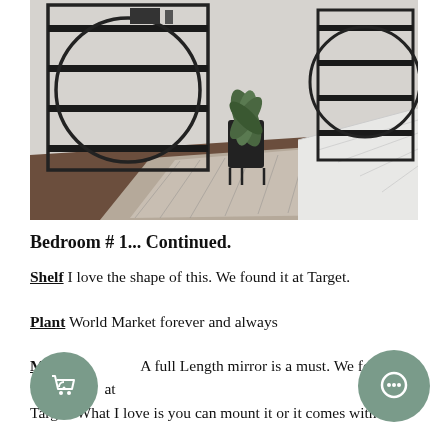[Figure (photo): Interior bedroom photo showing two black metal geometric bookshelves/etageres with circular design elements, positioned against a white wall. A plant in a black pot sits between them. Dark wood floor with a patterned rug. White bedding visible at the right edge.]
Bedroom # 1... Continued.
Shelf I love the shape of this. We found it at Target.
Plant World Market forever and always
A full Length mirror is a must. We found this at Target. What I love is you can mount it or it comes with